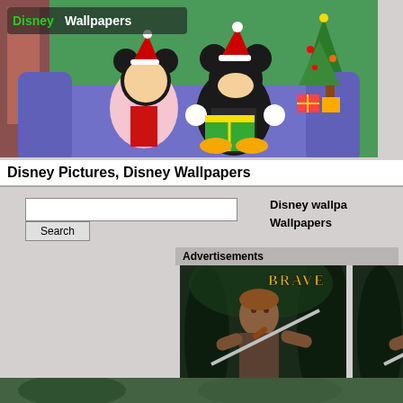[Figure (illustration): Disney Wallpapers website banner showing Mickey Mouse and Minnie Mouse with Christmas hats sitting on a purple couch with a Christmas tree in the background, with Disney Wallpapers logo in top left]
Disney Pictures, Disney Wallpapers
Disney wallpapers Wallpapers
Advertisements
[Figure (illustration): Movie still from Disney/Pixar Brave showing King Fergus character holding a sword in a forest setting, with BRAVE logo and 'King Fergus' text]
[Figure (illustration): Second copy of movie still from Disney/Pixar Brave showing King Fergus character holding a sword in a forest setting, with BRAVE logo and 'King Fergus' text]
[Figure (photo): Partial image at bottom of page, appears to be another Disney image, cropped]